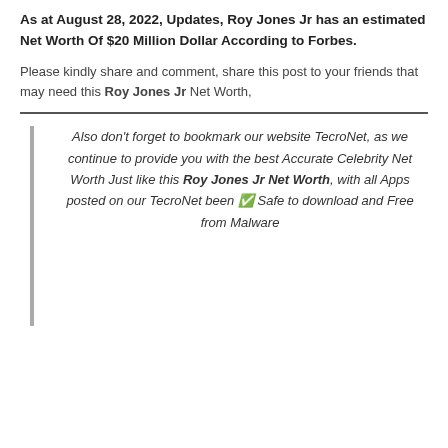As at August 28, 2022, Updates, Roy Jones Jr has an estimated Net Worth Of $20 Million Dollar According to Forbes.
Please kindly share and comment, share this post to your friends that may need this Roy Jones Jr Net Worth,
Also don't forget to bookmark our website TecroNet, as we continue to provide you with the best Accurate Celebrity Net Worth Just like this Roy Jones Jr Net Worth, with all Apps posted on our TecroNet been ✅ Safe to download and Free from Malware